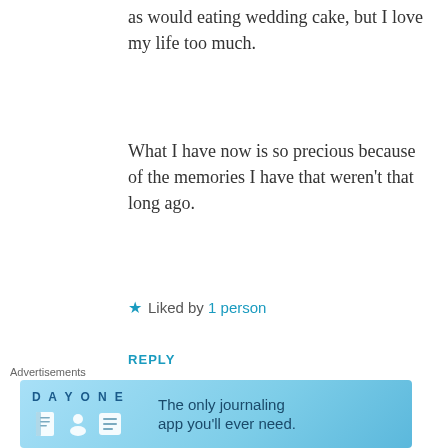as would eating wedding cake, but I love my life too much.
What I have now is so precious because of the memories I have that weren't that long ago.
★ Liked by 1 person
REPLY
[Figure (illustration): Green circular avatar icon with decorative diamond/star pattern in white, representing user thesoberraccoon]
thesoberraccoon
Advertisements
[Figure (infographic): DAY ONE app advertisement banner: 'The only journaling app you'll ever need.' with app icons on teal/blue background]